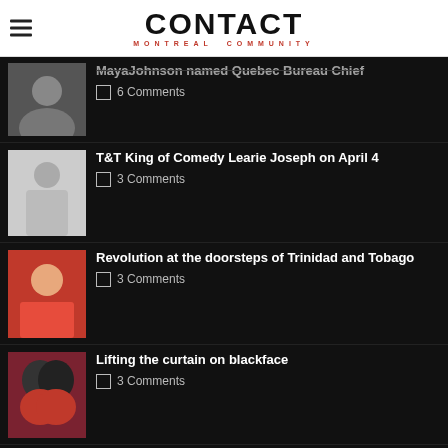CONTACT MONTREAL COMMUNITY
Maya Johnson named Quebec Bureau Chief — 6 Comments
T&T King of Comedy Learie Joseph on April 4 — 3 Comments
Revolution at the doorsteps of Trinidad and Tobago — 3 Comments
Lifting the curtain on blackface — 3 Comments
LATEST COMMENTS